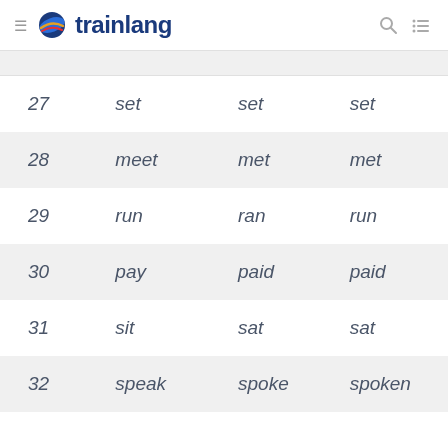trainlang
| # | Base | Past Simple | Past Participle |
| --- | --- | --- | --- |
| 27 | set | set | set |
| 28 | meet | met | met |
| 29 | run | ran | run |
| 30 | pay | paid | paid |
| 31 | sit | sat | sat |
| 32 | speak | spoke | spoken |